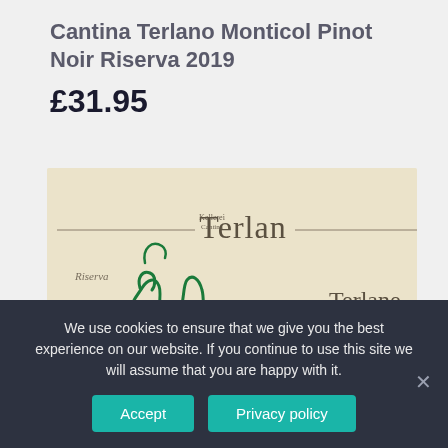Cantina Terlano Monticol Pinot Noir Riserva 2019
£31.95
[Figure (photo): Close-up of a wine bottle label for Cantina Terlano / Kellerei Terlan. The label has a cream/parchment background with the Terlan winery logo at the top showing 'Kellerei Cantina Terlan' in small text and 'Terlan' in large styled type with horizontal rules. Below is decorative green cursive script forming the letter 'M' or 'Mo'. The right side shows the text 'Terlane' in serif type. A small italic text 'Riserva' appears at the left.]
We use cookies to ensure that we give you the best experience on our website. If you continue to use this site we will assume that you are happy with it.